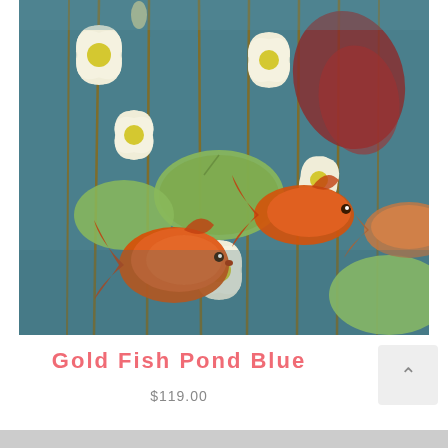[Figure (illustration): Decorative illustration of goldfish swimming among lotus flowers and lily pads on a teal blue background. Orange/red goldfish swim among tall stems with white lotus blossoms and large green lily pads. The style is painterly and decorative, reminiscent of Asian art.]
Gold Fish Pond Blue
$119.00